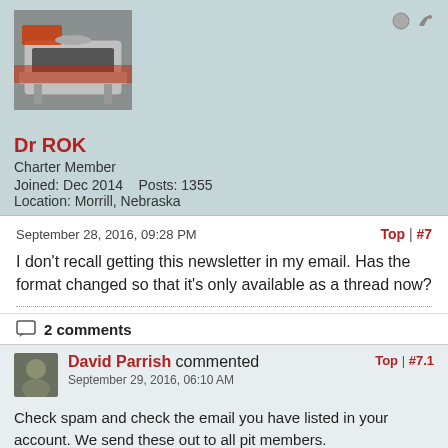[Figure (photo): Profile avatar image showing a barbecue grill/smoker in red and silver]
Dr ROK
Charter Member
Joined: Dec 2014    Posts: 1355
Location: Morrill, Nebraska
September 28, 2016, 09:28 PM
Top | #7
I don't recall getting this newsletter in my email. Has the format changed so that it's only available as a thread now?
2 comments
[Figure (photo): Small commenter avatar photo of David Parrish]
David Parrish commented
Top | #7.1
September 29, 2016, 06:10 AM
Check spam and check the email you have listed in your account. We send these out to all pit members.